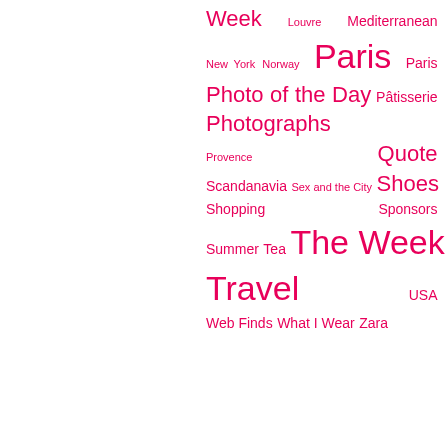Week Louvre Mediterranean New York Norway Paris Paris Photo of the Day Pâtisserie Photographs Provence Quote Scandanavia Sex and the City Shoes Shopping Sponsors Summer Tea The Week That Was This Week's Fabulosity Travel USA Web Finds What I Wear Zara